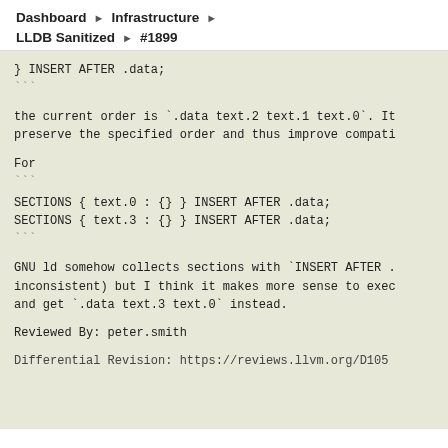Dashboard ▶ Infrastructure ▶
LLDB Sanitized ▶ #1899
} INSERT AFTER .data;
```

the current order is `.data text.2 text.1 text.0`. It
preserve the specified order and thus improve compati

For
```
SECTIONS { text.0 : {} } INSERT AFTER .data;
SECTIONS { text.3 : {} } INSERT AFTER .data;
```

GNU ld somehow collects sections with `INSERT AFTER .
inconsistent) but I think it makes more sense to exec
and get `.data text.3 text.0` instead.

Reviewed By: peter.smith

Differential Revision: https://reviews.llvm.org/D105